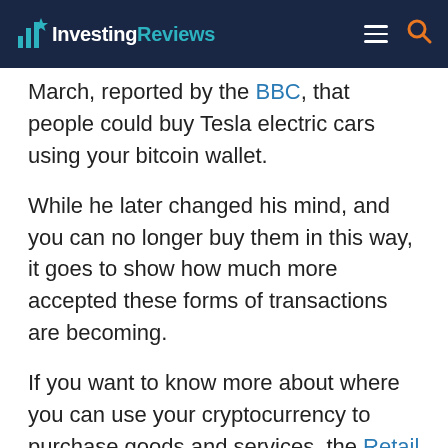InvestingReviews
March, reported by the BBC, that people could buy Tesla electric cars using your bitcoin wallet.
While he later changed his mind, and you can no longer buy them in this way, it goes to show how much more accepted these forms of transactions are becoming.
If you want to know more about where you can use your cryptocurrency to purchase goods and services, the Retail Gazette recently published a helpful article on the topic.
Have you tried eToro?
Visit eToro
Cryptoassets are highly volatile and unregulated in the UK. No consumer protection. Tax on profits may apply.